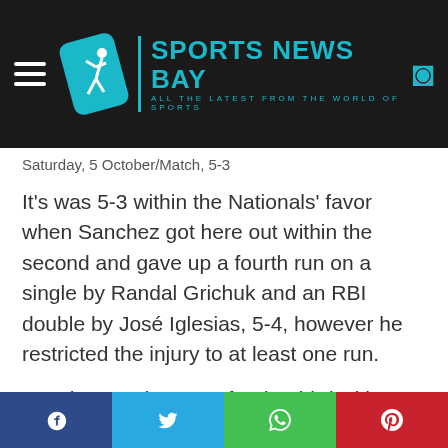SPORTS NEWS BAY — ALL THE LATEST FROM THE WORLD OF SPORTS
Saturday, 5 October/Match, 5-3
It's was 5-3 within the Nationals' favor when Sanchez got here out within the second and gave up a fourth run on a single by Randal Grichuk and an RBI double by José Iglesias, 5-4, however he restricted the injury to at least one run.
Sanchez got here out for the third with an 8-4 lead, and retired the Rockies so as in a 13-pitch body, however he gave up back-to-back singles to begin the highest of the fourth, with each Brendan Rodgers
Social share: Facebook, Twitter, WhatsApp, Pinterest